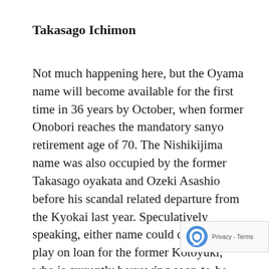Takasago Ichimon
Not much happening here, but the Oyama name will become available for the first time in 36 years by October, when former Onobori reaches the mandatory sanyo retirement age of 70. The Nishikijima name was also occupied by the former Takasago oyakata and Ozeki Asashio before his scandal related departure from the Kyokai last year. Speculatively speaking, either name could come into play on loan for the former Kotoyuki, who is currently borrowing soon-to-be-37-year-old Okinoumi’s myoseki Kimigahama. Both names could also be acquisition targets for Hokutofuji, who tur later this year.